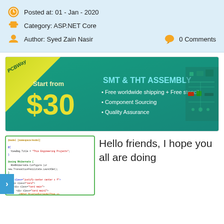Posted at: 01 - Jan - 2020
Category: ASP.NET Core
Author: Syed Zain Nasir
0 Comments
[Figure (infographic): PCBWay advertisement banner: teal/green background, PCBWay logo in yellow-green triangle at top-left, 'Start from $30' in yellow text, 'SMT & THT ASSEMBLY' in cyan text, bullet points: 'Free worldwide shipping + Free stencil', 'Component Sourcing', 'Quality Assurance', PCB circuit image on right side]
[Figure (screenshot): Code editor screenshot showing ASP.NET Core code with green border]
Hello friends, I hope you all are doing